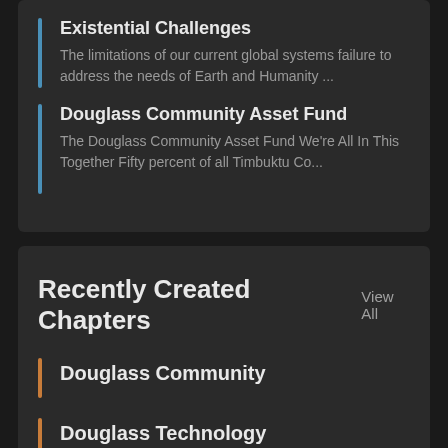Existential Challenges
The limitations of our current global systems failure to address the needs of Earth and Humanity ...
Douglass Community Asset Fund
The Douglass Community Asset Fund We're All In This Together Fifty percent of all Timbuktu Co...
Recently Created Chapters  View All
Douglass Community
Douglass Technology
Douglass: Technology For Peace, Love, Purpose.